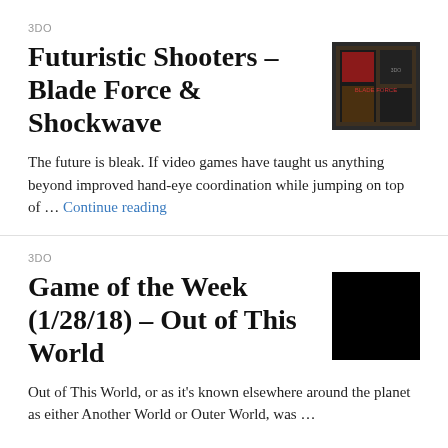3DO
Futuristic Shooters – Blade Force & Shockwave
[Figure (photo): Game box cover photo for Futuristic Shooters – Blade Force & Shockwave]
The future is bleak. If video games have taught us anything beyond improved hand-eye coordination while jumping on top of … Continue reading
3DO
Game of the Week (1/28/18) – Out of This World
[Figure (photo): Black thumbnail image for Game of the Week Out of This World]
Out of This World, or as it's known elsewhere around the planet as either Another World or Outer World, was …